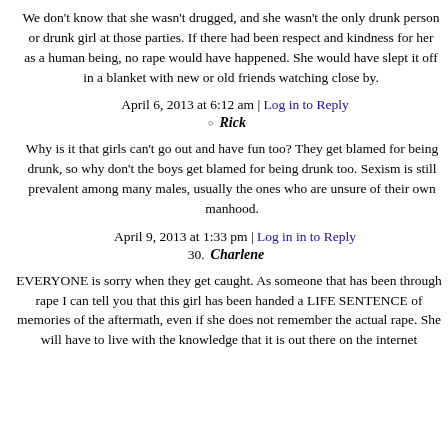We don't know that she wasn't drugged, and she wasn't the only drunk person or drunk girl at those parties. If there had been respect and kindness for her as a human being, no rape would have happened. She would have slept it off in a blanket with new or old friends watching close by.
April 6, 2013 at 6:12 am | Log in to Reply
Rick
Why is it that girls can't go out and have fun too? They get blamed for being drunk, so why don't the boys get blamed for being drunk too. Sexism is still prevalent among many males, usually the ones who are unsure of their own manhood.
April 9, 2013 at 1:33 pm | Log in to Reply
Charlene
EVERYONE is sorry when they get caught. As someone that has been through rape I can tell you that this girl has been handed a LIFE SENTENCE of memories of the aftermath, even if she does not remember the actual rape. She will have to live with the knowledge that it is out there on the internet